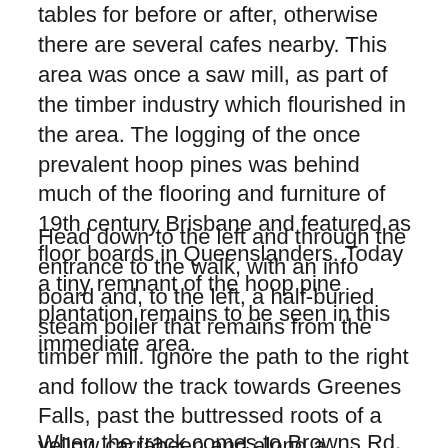tables for before or after, otherwise there are several cafes nearby. This area was once a saw mill, as part of the timber industry which flourished in the area. The logging of the once prevalent hoop pines was behind much of the flooring and furniture of 19th century Brisbane and featured as floor boards in Queenslanders. Today a tiny remnant of the hoop pine plantation remains to be seen in this immediate area.
Head down to the left and through the entrance to the walk, with an info board and, to the left, a half-buried steam boiler that remains from the timber mill. Ignore the path to the right and follow the track towards Greenes Falls, past the buttressed roots of a yellow carrabeen and along a boardwalk protecting a gigantic Watkin's fig and also passing a large Sydney blue gum and brush box.
When the track comes to Browns Rd, loop back to